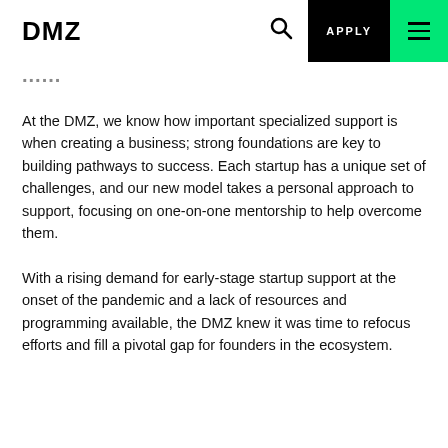DMZ | APPLY
...
At the DMZ, we know how important specialized support is when creating a business; strong foundations are key to building pathways to success. Each startup has a unique set of challenges, and our new model takes a personal approach to support, focusing on one-on-one mentorship to help overcome them.
With a rising demand for early-stage startup support at the onset of the pandemic and a lack of resources and programming available, the DMZ knew it was time to refocus efforts and fill a pivotal gap for founders in the ecosystem.